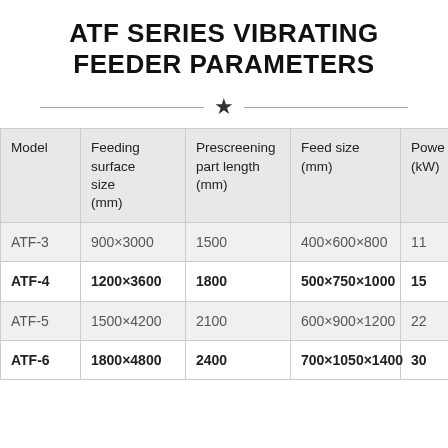ATF SERIES VIBRATING FEEDER PARAMETERS
| Model | Feeding surface size (mm) | Prescreening part length (mm) | Feed size (mm) | Power (kW) |
| --- | --- | --- | --- | --- |
| ATF-3 | 900×3000 | 1500 | 400×600×800 | 11 |
| ATF-4 | 1200×3600 | 1800 | 500×750×1000 | 15 |
| ATF-5 | 1500×4200 | 2100 | 600×900×1200 | 22 |
| ATF-6 | 1800×4800 | 2400 | 700×1050×1400 | 30 |